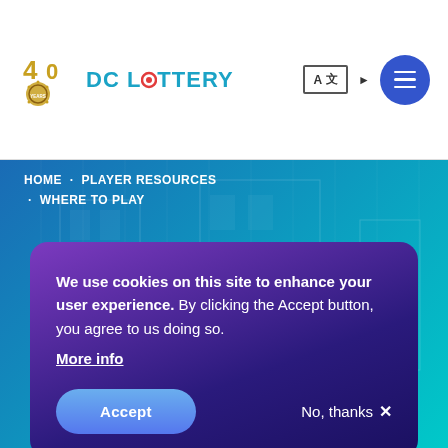DC Lottery - 40th Anniversary logo with navigation
HOME · PLAYER RESOURCES · WHERE TO PLAY
We use cookies on this site to enhance your user experience. By clicking the Accept button, you agree to us doing so. More info
Accept
No, thanks ✕